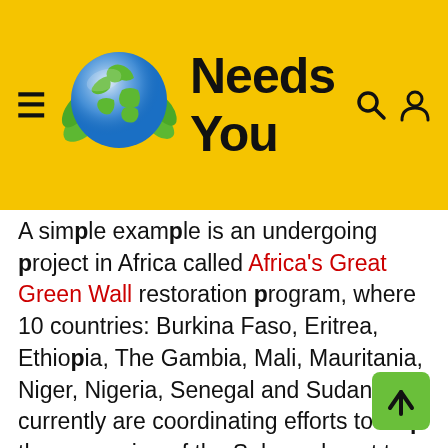Needs You
A simple example is an undergoing project in Africa called Africa's Great Green Wall restoration program, where 10 countries: Burkina Faso, Eritrea, Ethiopia, The Gambia, Mali, Mauritania, Niger, Nigeria, Senegal and Sudan currently are coordinating efforts to stop the expansion of the Sahara desert to South.
[Figure (other): Green upward arrow button (scroll-to-top FAB)]